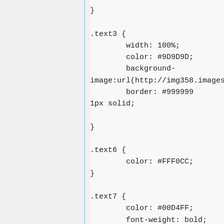}

.text3 {
        width: 100%;
        color: #9D9D9D;
        background-image:url(http://img358.imagesh
        border: #999999
1px solid;

}

.text6 {
        color: #FFF0CC;
}

.text7 {
        color: #00D4FF;
        font-weight: bold;

}

.text9 {
        color: #FFB856;